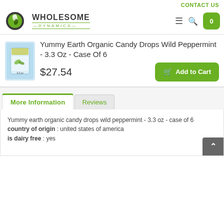CONTACT US
[Figure (logo): Wholesome Dynamics logo with green circular icon and text]
Yummy Earth Organic Candy Drops Wild Peppermint - 3.3 Oz - Case Of 6
$27.54
Add to Cart
More Information
Reviews
Yummy earth organic candy drops wild peppermint - 3.3 oz - case of 6
country of origin : united states of america
is dairy free : yes